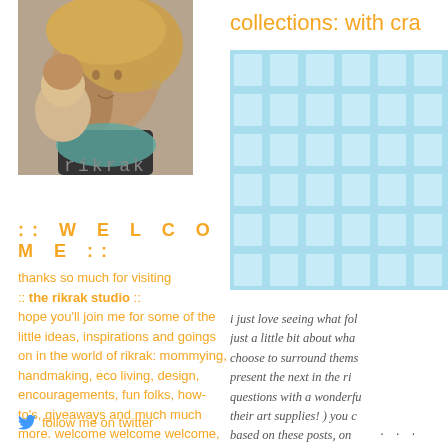[Figure (photo): Profile photo of a woman with a child, close-up shot]
rikrak
:: WELCOME ::
thanks so much for visiting :: the rikrak studio :: hope you'll join me for some of the little ideas, inspirations and goings on in the world of rikrak: mommying, handmaking, eco living, design, encouragements, fun folks, how-to's, giveaways and much much more. welcome welcome welcome, wonderful ones!
follow me on twitter
collections: with cra
[Figure (illustration): Light blue quatrefoil/moroccan tile pattern on lighter blue background]
i just love seeing what fol just a little bit about wha choose to surround thems present the next in the ri questions with a wonderfu their art supplies! ) you c based on these posts, on adorable knick-knacks with
...